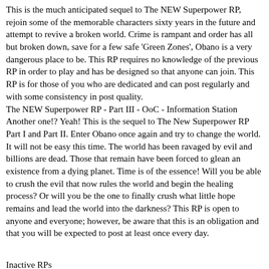This is the much anticipated sequel to The NEW Superpower RP, rejoin some of the memorable characters sixty years in the future and attempt to revive a broken world. Crime is rampant and order has all but broken down, save for a few safe 'Green Zones', Obano is a very dangerous place to be. This RP requires no knowledge of the previous RP in order to play and has be designed so that anyone can join. This RP is for those of you who are dedicated and can post regularly and with some consistency in post quality.
The NEW Superpower RP - Part III - OoC - Information Station Another one!? Yeah! This is the sequel to The New Superpower RP Part I and Part II. Enter Obano once again and try to change the world. It will not be easy this time. The world has been ravaged by evil and billions are dead. Those that remain have been forced to glean an existence from a dying planet. Time is of the essence! Will you be able to crush the evil that now rules the world and begin the healing process? Or will you be the one to finally crush what little hope remains and lead the world into the darkness? This RP is open to anyone and everyone; however, be aware that this is an obligation and that you will be expected to post at least once every day.
Inactive RPs
Phlogiston: Return to Adventure - OOC - Information Station Revisit the world of the first Steampunk adventure with all new